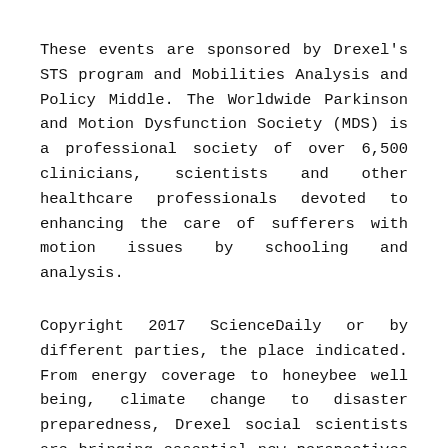These events are sponsored by Drexel's STS program and Mobilities Analysis and Policy Middle. The Worldwide Parkinson and Motion Dysfunction Society (MDS) is a professional society of over 6,500 clinicians, scientists and other healthcare professionals devoted to enhancing the care of sufferers with motion issues by schooling and analysis.
Copyright 2017 ScienceDaily or by different parties, the place indicated. From energy coverage to honeybee well being, climate change to disaster preparedness, Drexel social scientists are bringing essential new perspectives to the nation's best environmental challenges. Silverman will work as part of a research staff which incorporates Drexel Professors Paul Shattuck, PhD, and Collette Sosnowy, PhD, and Connie Anderson, PhD, from Towson University.